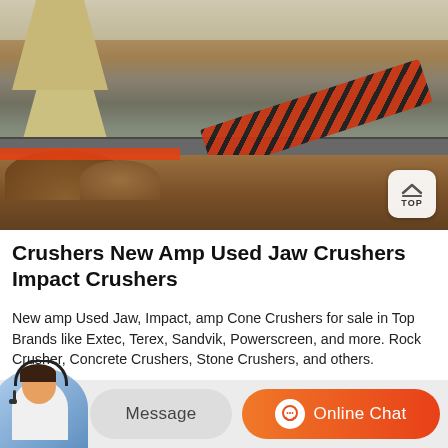[Figure (photo): Industrial jaw crusher plant with multiple hoppers/crushers, conveyor belts, steel platform structure, and dirt/rock piles in foreground]
Crushers New Amp Used Jaw Crushers Impact Crushers
New amp Used Jaw, Impact, amp Cone Crushers for sale in Top Brands like Extec, Terex, Sandvik, Powerscreen, and more. Rock Crusher, Concrete Crushers, Stone Crushers, and others. Exclusive US home of Evortle Crushers. Select Language. English Deutsch Fran ais Espa ol Italiano N...
Message
Online Chat